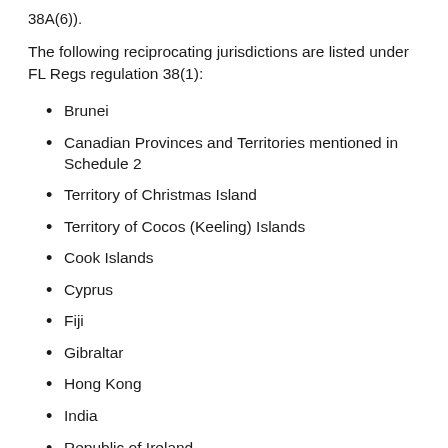38A(6)).
The following reciprocating jurisdictions are listed under FL Regs regulation 38(1):
Brunei
Canadian Provinces and Territories mentioned in Schedule 2
Territory of Christmas Island
Territory of Cocos (Keeling) Islands
Cook Islands
Cyprus
Fiji
Gibraltar
Hong Kong
India
Republic of Ireland